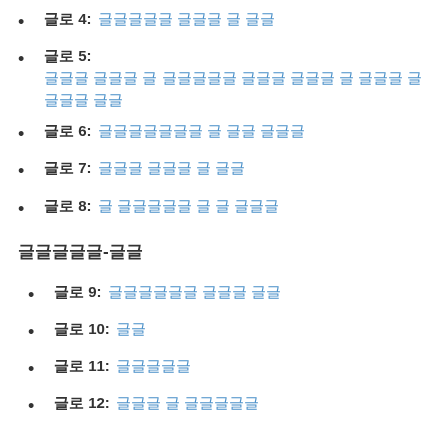글로 4: 글글글글글 글글글 글 글글
글로 5: 글글글 글글글 글 글글글글글 글글글 글글글 글 글글글 글 글글글 글글
글로 6: 글글글글글글글 글 글글 글글글
글로 7: 글글글 글글글 글 글글
글로 8: 글 글글글글글 글 글 글글글
글글글글글-글글
글로 9: 글글글글글글 글글글 글글
글로 10: 글글
글로 11: 글글글글글
글로 12: 글글글 글 글글글글글